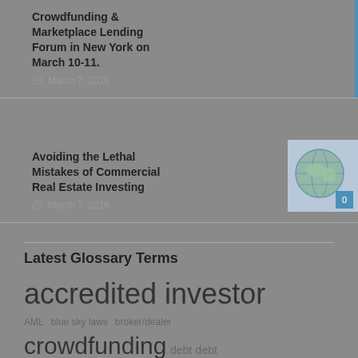Crowdfunding & Marketplace Lending Forum in New York on March 10-11.
March 7, 2016
Avoiding the Lethal Mistakes of Commercial Real Estate Investing
March 7, 2016
[Figure (illustration): Globe with financial/commercial real estate illustration, with blue badge showing 0]
Latest Glossary Terms
accredited investor AML blue sky laws broker/dealer crowdfunding debt debt crowdinvesting distressed mortgage dodd frank equity equity